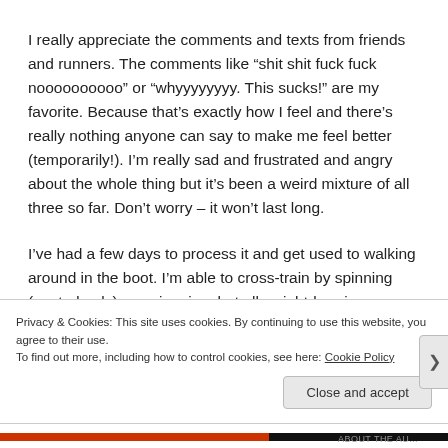I really appreciate the comments and texts from friends and runners. The comments like “shit shit fuck fuck noooooooooo” or “whyyyyyyyy. This sucks!” are my favorite. Because that’s exactly how I feel and there’s really nothing anyone can say to make me feel better (temporarily!). I’m really sad and frustrated and angry about the whole thing but it’s been a weird mixture of all three so far. Don’t worry – it won’t last long.
I’ve had a few days to process it and get used to walking around in the boot. I’m able to cross-train by spinning (seated only) or swimming, but all weight-bearing exercises (including yoga) are out for the next
Privacy & Cookies: This site uses cookies. By continuing to use this website, you agree to their use.
To find out more, including how to control cookies, see here: Cookie Policy